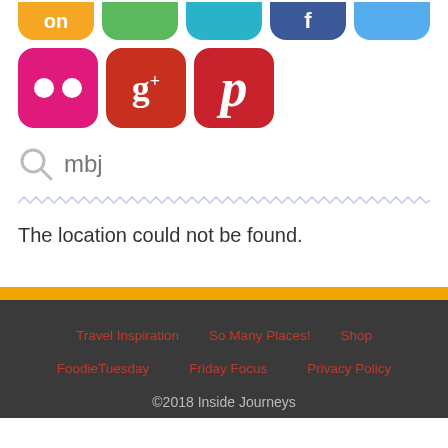[Figure (screenshot): Social media icons: row 1 partially visible (orange, green, teal, navy, light blue); row 2 full (Flickr pink, Google+ red, Pinterest red)]
mbj
[Figure (other): Zigzag/hatched divider line]
The location could not be found.
Travel Inspiration   So Many Places!   Shop   FoodieTuesday   Friday Focus   Privacy Policy   ©2018 Inside Journeys